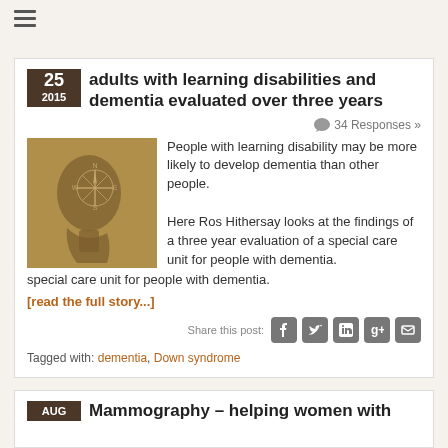adults with learning disabilities and dementia evaluated over three years
34 Responses »
[Figure (photo): Sepia-toned artistic image of a human head profile with a compass rose overlaid on the brain area]
People with learning disability may be more likely to develop dementia than other people.

Here Ros Hithersay looks at the findings of a three year evaluation of a special care unit for people with dementia.
[read the full story...]
Share this post:
Tagged with: dementia, Down syndrome
Mammography – helping women with